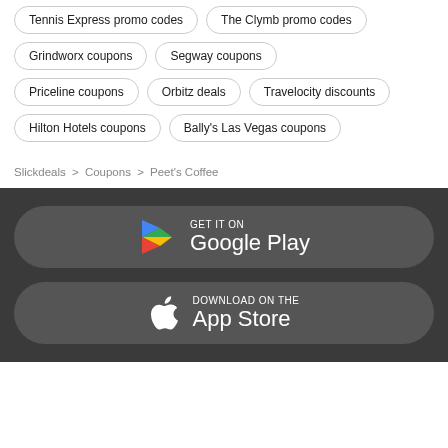Tennis Express promo codes
The Clymb promo codes
Grindworx coupons
Segway coupons
Priceline coupons
Orbitz deals
Travelocity discounts
Hilton Hotels coupons
Bally's Las Vegas coupons
Slickdeals > Coupons > Peet's Coffee
[Figure (logo): Get it on Google Play button]
[Figure (logo): Download on the App Store button]